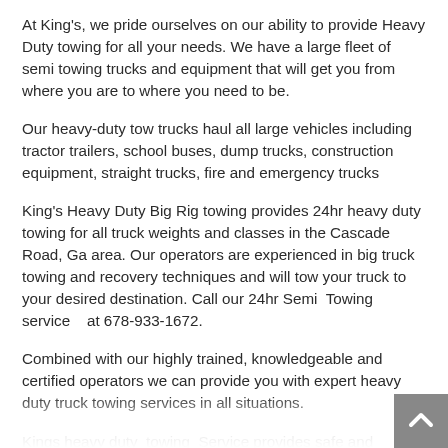At King's, we pride ourselves on our ability to provide Heavy Duty towing for all your needs. We have a large fleet of semi towing trucks and equipment that will get you from where you are to where you need to be.
Our heavy-duty tow trucks haul all large vehicles including tractor trailers, school buses, dump trucks, construction equipment, straight trucks, fire and emergency trucks
King's Heavy Duty Big Rig towing provides 24hr heavy duty towing for all truck weights and classes in the Cascade Road, Ga area. Our operators are experienced in big truck towing and recovery techniques and will tow your truck to your desired destination. Call our 24hr Semi  Towing service   at 678-933-1672.
Combined with our highly trained, knowledgeable and certified operators we can provide you with expert heavy duty truck towing services in all situations.
Kings heavy duty  towing  Service provides safe and efficient bus and RV towing services .
Our extensive and flexible fleet of heavy duty tow trucks are able to provide all sorts of truck towing services, both emergency and scheduled. Our reputation is known for providing quick, friendly…